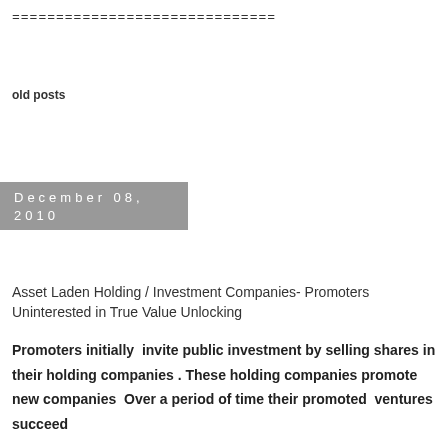==============================
old posts
December 08, 2010
Asset Laden Holding / Investment Companies- Promoters Uninterested in True Value Unlocking
Promoters initially  invite public investment by selling shares in their holding companies . These holding companies promote new companies  Over a period of time their promoted  ventures succeed